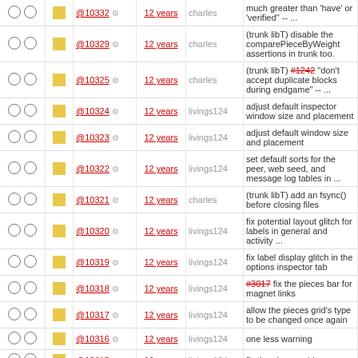|  |  | Rev | Age | Author | Description |
| --- | --- | --- | --- | --- | --- |
| ○ ○ | ■ | @10332 | 12 years | charles | much greater than 'have' or 'verified'' -- ... |
| ○ ○ | ■ | @10329 | 12 years | charles | (trunk libT) disable the comparePieceByWeight assertions in trunk too. |
| ○ ○ | ■ | @10325 | 12 years | charles | (trunk libT) #1242 "don't accept duplicate blocks during endgame" -- ... |
| ○ ○ | ■ | @10324 | 12 years | livings124 | adjust default inspector window size and placement |
| ○ ○ | ■ | @10323 | 12 years | livings124 | adjust default window size and placement |
| ○ ○ | ■ | @10322 | 12 years | livings124 | set default sorts for the peer, web seed, and message log tables in ... |
| ○ ○ | ■ | @10321 | 12 years | charles | (trunk libT) add an fsync() before closing files |
| ○ ○ | ■ | @10320 | 12 years | livings124 | fix potential layout glitch for labels in general and activity ... |
| ○ ○ | ■ | @10319 | 12 years | livings124 | fix label display glitch in the options inspector tab |
| ○ ○ | ■ | @10318 | 12 years | livings124 | #3017 fix the pieces bar for magnet links |
| ○ ○ | ■ | @10317 | 12 years | livings124 | allow the pieces grid's type to be changed once again |
| ○ ○ | ■ | @10316 | 12 years | livings124 | one less warning |
| ○ ○ | ■ | @10315 | 12 years | livings124 | fix the pieces grid |
| ○ ○ | ■ | @10314 | 12 years | livings124 | make sure a info tab is loaded |